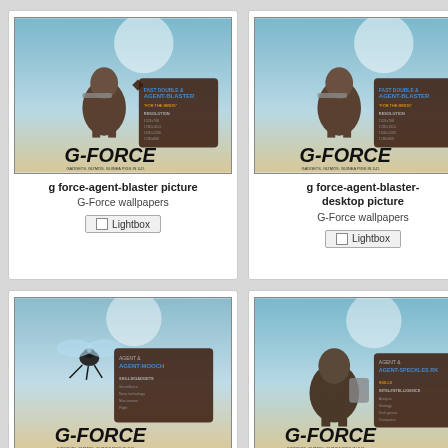[Figure (screenshot): G-Force movie wallpaper showing agent blaster guinea pig character with G-Force logo]
g force-agent-blaster picture
G-Force wallpapers
[Figure (screenshot): G-Force movie wallpaper desktop version showing agent blaster guinea pig character with G-Force logo]
g force-agent-blaster-desktop picture
G-Force wallpapers
[Figure (screenshot): Partial G-Force wallpaper (cropped, partially visible)]
G-Fo...
G-F...
[Figure (screenshot): G-Force movie wallpaper showing agent mooch fly character with G-Force logo]
g force-agent-mooch picture
G-Force wallpapers
[Figure (screenshot): G-Force movie wallpaper showing agent speckles mole character with G-Force logo]
g force-agent-speckles picture
G-Force wallpapers
[Figure (screenshot): Partial G-Force wallpaper (cropped, partially visible on right edge)]
G-Fo...
G-F...